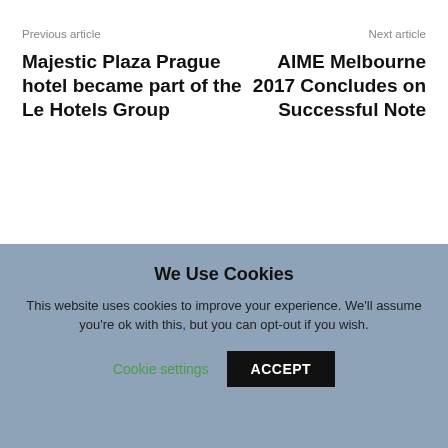Previous article
Next article
Majestic Plaza Prague hotel became part of the Le Hotels Group
AIME Melbourne 2017 Concludes on Successful Note
[Figure (photo): Headshot of a middle-aged man with dark hair, wearing a white shirt, blue sky and water in background]
We Use Cookies
This website uses cookies to improve your experience. We'll assume you're ok with this, but you can opt-out if you wish.
Cookie settings   ACCEPT